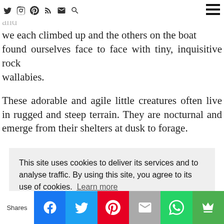Navigation bar with social icons: Twitter, Instagram, Pinterest, RSS, Email, Search, and hamburger menu
boat pulled up alongside a section of the rock face and we each climbed up and the others on the boat found ourselves face to face with tiny, inquisitive rock wallabies.
These adorable and agile little creatures often live in rugged and steep terrain. They are nocturnal and emerge from their shelters at dusk to forage.
This site uses cookies to deliver its services and to analyse traffic. By using this site, you agree to its use of cookies. Learn more
OK
Shares | Facebook | Twitter | Pinterest | Email | WhatsApp | Crown